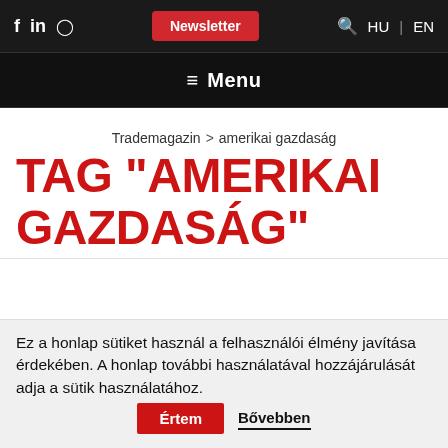f in [instagram] Newsletter HU | EN
≡ Menu
Trademagazin > amerikai gazdaság
TAG "AMERIKAI GAZDASÁG"
CONSUMER SENTIMENT DETERIORATED IN OCTOBER IN THE UNITED STATES
DATE: 2021-10-15 11:05:47
Ez a honlap sütiket használ a felhasználói élmény javítása érdekében. A honlap további használatával hozzájárulását adja a sütik használatához. Értem Bővebben